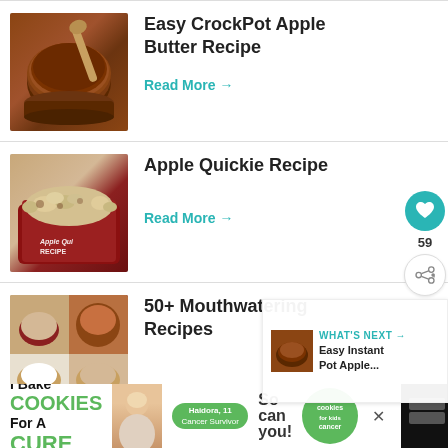[Figure (photo): Photo of apple butter in a jar with wooden spoon]
Easy CrockPot Apple Butter Recipe
Read More →
[Figure (photo): Photo of Apple Quickie Recipe dish in a red baking pan]
Apple Quickie Recipe
Read More →
[Figure (photo): Collage of 50+ Mouthwatering Recipes]
50+ Mouthwatering Recipes
[Figure (photo): What's Next thumbnail - Easy Instant Pot Apple...]
WHAT'S NEXT → Easy Instant Pot Apple...
[Figure (photo): Advertisement banner: I Bake Cookies For A Cure - Haidora, 11 Cancer Survivor - So can you! - cookies for kids cancer]